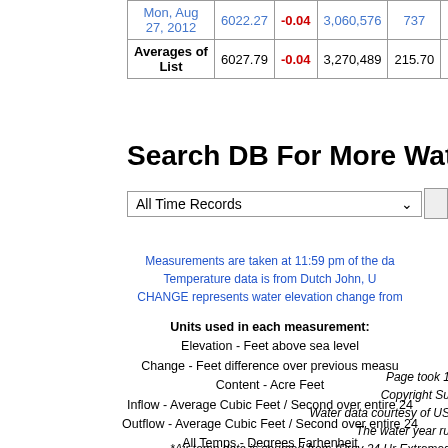| Date | Elevation | Change | Content | Inflow | Outflow |
| --- | --- | --- | --- | --- | --- |
| Mon, Aug 27, 2012 | 6022.27 | -0.04 | 3,060,576 | 737 |  |
| Averages of List | 6027.79 | -0.04 | 3,270,489 | 215.70 | 1 |
Search DB For More Water Da
All Time Records
Measurements are taken at 11:59 pm of the da
Temperature data is from Dutch John, U
CHANGE represents water elevation change from
Units used in each measurement:
Elevation - Feet above sea level
Change - Feet difference over previous measu
Content - Acre Feet
Inflow - Average Cubic Feet / Second over entire 24
Outflow - Average Cubic Feet / Second over entire 24
All Temps - Degrees Farhenheit
The Water Year runs from October 1 to September 30 d
Acre Feet = 1 * Flow CFS
TP = Total Precipitation
Page took 1
Copyright Su
Water data courtesy of US
The water year ru
*Air temp data is sourced from (Prev 24 Hr Extremes
Water data sourced from Flam
Weather fore
All data is provisional and subject to